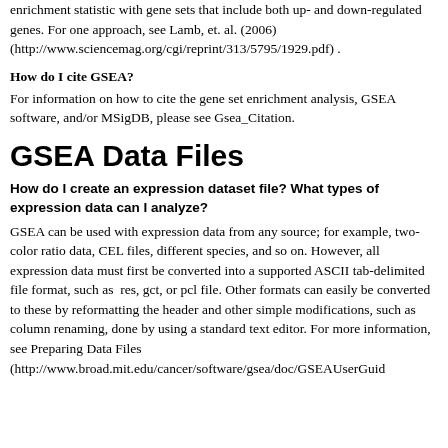enrichment statistic with gene sets that include both up- and down-regulated genes. For one approach, see Lamb, et. al. (2006) (http://www.sciencemag.org/cgi/reprint/313/5795/1929.pdf) .
How do I cite GSEA?
For information on how to cite the gene set enrichment analysis, GSEA software, and/or MSigDB, please see Gsea_Citation.
GSEA Data Files
How do I create an expression dataset file? What types of expression data can I analyze?
GSEA can be used with expression data from any source; for example, two-color ratio data, CEL files, different species, and so on. However, all expression data must first be converted into a supported ASCII tab-delimited file format, such as  res, gct, or pcl file. Other formats can easily be converted to these by reformatting the header and other simple modifications, such as column renaming, done by using a standard text editor. For more information, see Preparing Data Files (http://www.broad.mit.edu/cancer/software/gsea/doc/GSEAUserGuid